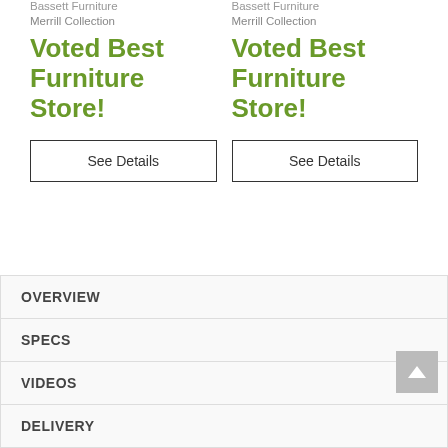Bassett Furniture
Merrill Collection
Voted Best Furniture Store!
See Details
Bassett Furniture
Merrill Collection
Voted Best Furniture Store!
See Details
OVERVIEW
SPECS
VIDEOS
DELIVERY